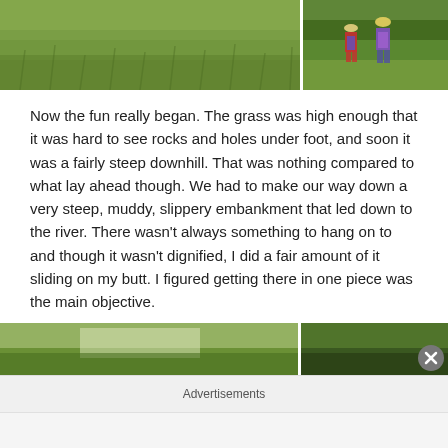[Figure (photo): Two side-by-side outdoor photos: left shows tall green grass in an open field; right shows two hikers with backpacks and hats walking through green vegetation.]
Now the fun really began. The grass was high enough that it was hard to see rocks and holes under foot, and soon it was a fairly steep downhill. That was nothing compared to what lay ahead though. We had to make our way down a very steep, muddy, slippery embankment that led down to the river. There wasn't always something to hang on to and though it wasn't dignified, I did a fair amount of it sliding on my butt. I figured getting there in one piece was the main objective.
[Figure (photo): Two side-by-side outdoor photos: left shows a bright light through green trees/river area; right shows a dark green forested riverbank scene.]
Advertisements